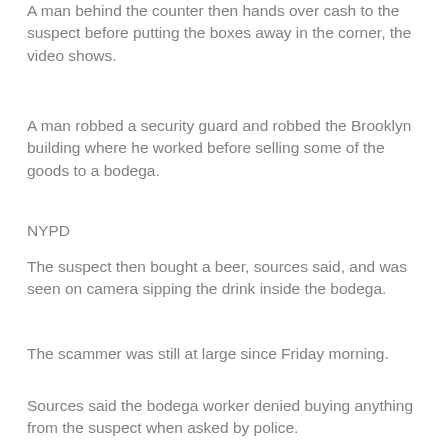A man behind the counter then hands over cash to the suspect before putting the boxes away in the corner, the video shows.
A man robbed a security guard and robbed the Brooklyn building where he worked before selling some of the goods to a bodega.
NYPD
The suspect then bought a beer, sources said, and was seen on camera sipping the drink inside the bodega.
The scammer was still at large since Friday morning.
Sources said the bodega worker denied buying anything from the suspect when asked by police.